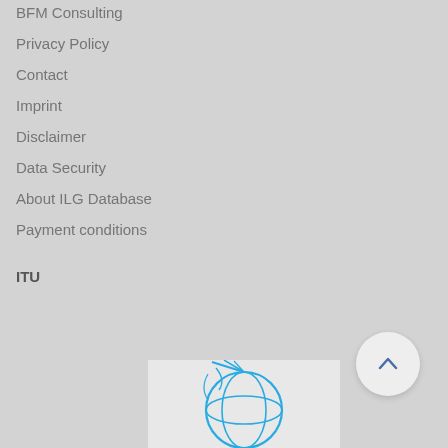BFM Consulting
Privacy Policy
Contact
Imprint
Disclaimer
Data Security
About ILG Database
Payment conditions
ITU
[Figure (logo): ITU logo — blue globe/antenna graphic on light grey background]